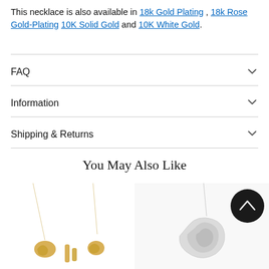This necklace is also available in 18k Gold Plating , 18k Rose Gold-Plating 10K Solid Gold and 10K White Gold.
FAQ
Information
Shipping & Returns
You May Also Like
[Figure (photo): Two gold necklace pendants with Arabic script lettering on thin gold chains, displayed on white background.]
[Figure (photo): Silver necklace pendant with cursive script lettering on a thin chain, displayed on white background. A dark circular scroll-up button is overlaid in the top right corner.]